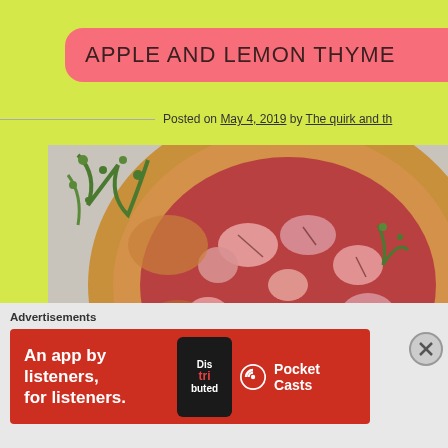APPLE AND LEMON THYME
Posted on May 4, 2019 by The quirk and th
[Figure (photo): Close-up overhead photo of an apple and lemon thyme galette/tart with sliced pink/red apples arranged on pastry crust, garnished with fresh thyme sprigs, on parchment paper]
Advertisements
[Figure (screenshot): Advertisement banner for Pocket Casts app: red background with white text 'An app by listeners, for listeners.' with phone showing 'Distributed' text and Pocket Casts logo]